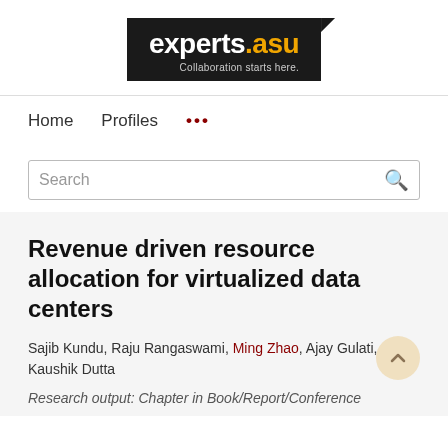[Figure (logo): experts.asu logo with tagline 'Collaboration starts here.' on dark background]
Home   Profiles   ...
Search
Revenue driven resource allocation for virtualized data centers
Sajib Kundu, Raju Rangaswami, Ming Zhao, Ajay Gulati, Kaushik Dutta
Research output: Chapter in Book/Report/Conference